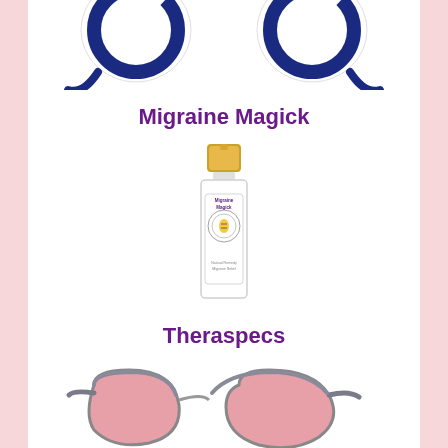[Figure (photo): Top portion of white wireless earbuds with navy blue circular rings/hooks, cropped at the top of the image]
Migraine Magick
[Figure (photo): A small glass perfume/spray bottle with a gold cap and white label reading 'Migraine Magick', with a circular logo design on the label]
Theraspecs
[Figure (photo): Cat-eye style glasses (Theraspecs) with grey/translucent frames and pink-tinted lenses, partially cropped at the bottom of the image]